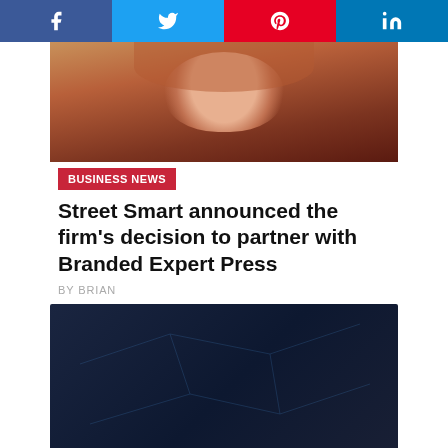[Figure (other): Social share buttons row: Facebook, Twitter, Pinterest, LinkedIn]
[Figure (photo): Partial photo of a man in a brown jacket and red shirt, cropped at top]
BUSINESS NEWS
Street Smart announced the firm's decision to partner with Branded Expert Press
BY BRIAN
[Figure (photo): Team photo with three circular portrait photos on dark background: Josh Moore CEO Partner, Steven Greene Executive Vice President Partner, Cory Rodriguez COO Partner]
BUSINESS NEWS
NEN8 GROUP Welcomes the Future of